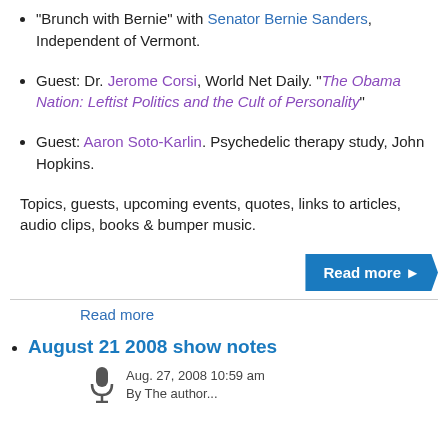"Brunch with Bernie" with Senator Bernie Sanders, Independent of Vermont.
Guest: Dr. Jerome Corsi, World Net Daily. "The Obama Nation: Leftist Politics and the Cult of Personality"
Guest: Aaron Soto-Karlin. Psychedelic therapy study, John Hopkins.
Topics, guests, upcoming events, quotes, links to articles, audio clips, books & bumper music.
Read more
Read more
August 21 2008 show notes
Aug. 27, 2008 10:59 am
By The author...